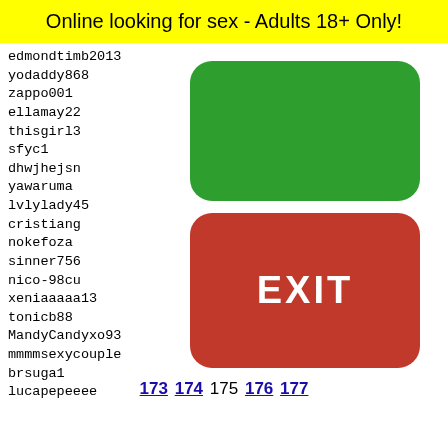Online looking for sex - Adults 18+ Only!
edmondtimb2013
yodaddy868
zappo001
ellamay22
thisgirl3
sfyc1
dhwjhejsn
yawaruma
lvlylady45
cristiang
nokefoza
sinner756
nico-98cu
xeniaaaaa13
tonicb88
MandyCandyxo93
mmmmsexycouple
brsuga1
lucapepeeee
lincoln620
cabron
Genera
malvii
feeder
vittor
laurra
[Figure (other): Green rounded rectangle button (no text)]
[Figure (other): Red rounded rectangle EXIT button]
173 174 175 176 177
[Figure (other): Snapchat ghost logo on yellow background with black dots pattern]